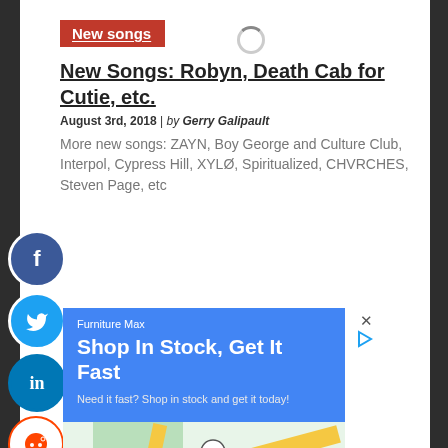New songs
New Songs: Robyn, Death Cab for Cutie, etc.
August 3rd, 2018 | by Gerry Galipault
More new songs: ZAYN, Boy George and Culture Club, Interpol, Cypress Hill, XYLØ, Spiritualized, CHVRCHES, Steven Page, etc
[Figure (screenshot): Advertisement for Furniture Max showing blue banner with text 'Shop In Stock, Get It Fast', 'Need it fast? Shop in stock and get it today!', a Google Maps view showing McNair area near Sunrise Valley Dr with marker, Store info and Directions buttons]
New releases